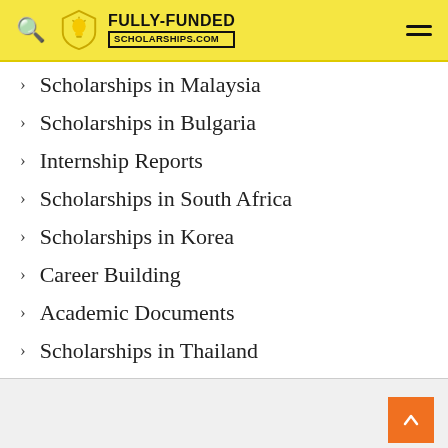FULLY-FUNDED SCHOLARSHIPS.COM
Scholarships in Malaysia
Scholarships in Bulgaria
Internship Reports
Scholarships in South Africa
Scholarships in Korea
Career Building
Academic Documents
Scholarships in Thailand